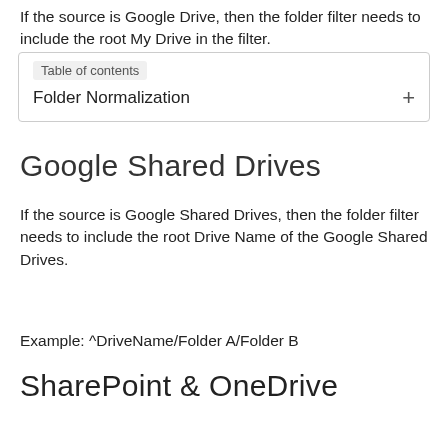If the source is Google Drive, then the folder filter needs to include the root My Drive in the filter.
| Table of contents |
| --- |
| Folder Normalization | + |
Google Shared Drives
If the source is Google Shared Drives, then the folder filter needs to include the root Drive Name of the Google Shared Drives.
Example: ^DriveName/Folder A/Folder B
SharePoint & OneDrive
If the source is SharePoint or OneDrive, then the folder filter needs to include the root Documents or Shared Documents in the filter.
Example: